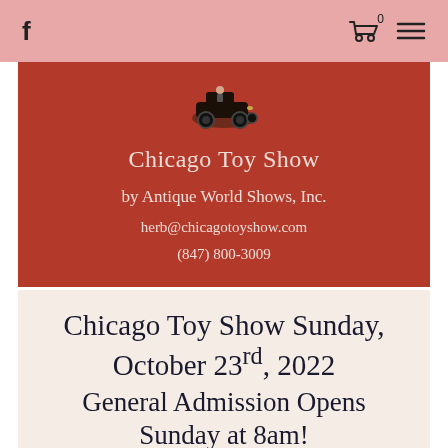f  [cart icon with 0]  [menu icon]
[Figure (logo): Vintage toy car with figure illustration logo]
Chicago Toy Show
by Antique World Shows, Inc.
herb@chicagotoyshow.com
(847) 800-3009
Chicago Toy Show Sunday, October 23rd, 2022 General Admission Opens Sunday at 8am!
Kane County Fairgrounds, 525 S. Randall